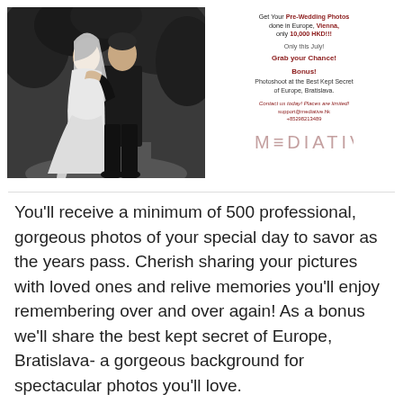[Figure (photo): Black and white wedding photo of a bride in a white flowing gown and veil standing close with a groom in a dark suit, facing each other in an outdoor setting with trees in the background.]
Get Your Pre-Wedding Photos done in Europe, Vienna, only 10,000 HKD!!!

Only this July!

Grab your Chance!

Bonus!
Photoshoot at the Best Kept Secret of Europe, Bratislava.

Contact us today! Places are limited!
support@mediative.hk
+85298213489
[Figure (logo): MEDIATIVE logo in spaced all-caps letters with a stylized M and E using horizontal lines instead of connecting strokes, in a muted rose/beige color.]
You'll receive a minimum of 500 professional, gorgeous photos of your special day to savor as the years pass. Cherish sharing your pictures with loved ones and relive memories you'll enjoy remembering over and over again! As a bonus we'll share the best kept secret of Europe, Bratislava- a gorgeous background for spectacular photos you'll love.